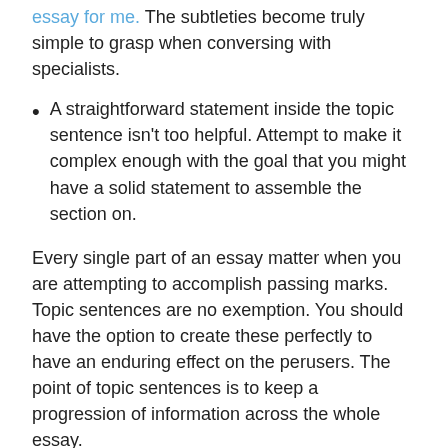essay for me. The subtleties become truly simple to grasp when conversing with specialists.
A straightforward statement inside the topic sentence isn’t too helpful. Attempt to make it complex enough with the goal that you might have a solid statement to assemble the section on.
Every single part of an essay matter when you are attempting to accomplish passing marks. Topic sentences are no exemption. You should have the option to create these perfectly to have an enduring effect on the perusers. The point of topic sentences is to keep a progression of information across the whole essay.
The essay ought to have the option to sound good to the perusers. Anything that is awkward will bring about derivations. The